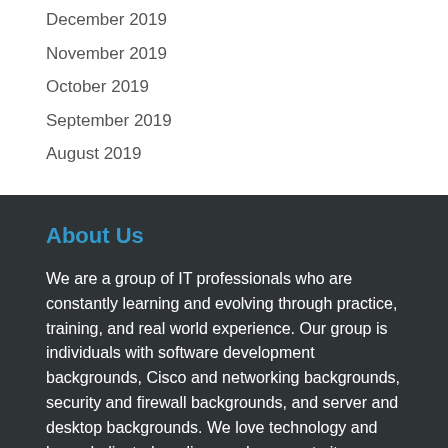December 2019
November 2019
October 2019
September 2019
August 2019
About Us
We are a group of IT professionals who are constantly learning and evolving through practice, training, and real world experience. Our group is individuals with software development backgrounds, Cisco and networking backgrounds, security and firewall backgrounds, and server and desktop backgrounds. We love technology and have dedicated our lives and careers to it.